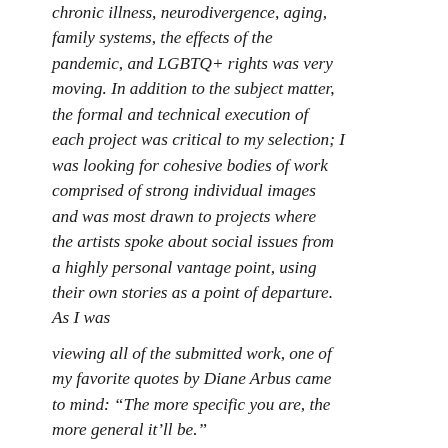chronic illness, neurodivergence, aging, family systems, the effects of the pandemic, and LGBTQ+ rights was very moving. In addition to the subject matter, the formal and technical execution of each project was critical to my selection; I was looking for cohesive bodies of work comprised of strong individual images and was most drawn to projects where the artists spoke about social issues from a highly personal vantage point, using their own stories as a point of departure. As I was viewing all of the submitted work, one of my favorite quotes by Diane Arbus came to mind: “The more specific you are, the more general it’ll be.”
Juris Cana, Juris juris juris D...